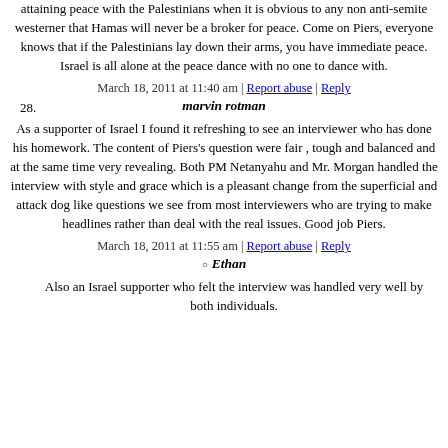attaining peace with the Palestinians when it is obvious to any non anti-semite westerner that Hamas will never be a broker for peace. Come on Piers, everyone knows that if the Palestinians lay down their arms, you have immediate peace. Israel is all alone at the peace dance with no one to dance with.
March 18, 2011 at 11:40 am | Report abuse | Reply
28. marvin rotman
As a supporter of Israel I found it refreshing to see an interviewer who has done his homework. The content of Piers's question were fair , tough and balanced and at the same time very revealing. Both PM Netanyahu and Mr. Morgan handled the interview with style and grace which is a pleasant change from the superficial and attack dog like questions we see from most interviewers who are trying to make headlines rather than deal with the real issues. Good job Piers.
March 18, 2011 at 11:55 am | Report abuse | Reply
Ethan
Also an Israel supporter who felt the interview was handled very well by both individuals.